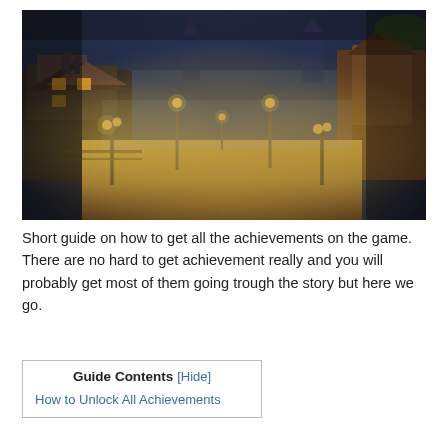[Figure (screenshot): A nighttime cobblestone street scene from a video game, showing old-town buildings with warm glowing lanterns, foggy atmosphere, and a long road receding into the distance.]
Short guide on how to get all the achievements on the game. There are no hard to get achievement really and you will probably get most of them going trough the story but here we go.
Guide Contents [Hide]
How to Unlock All Achievements